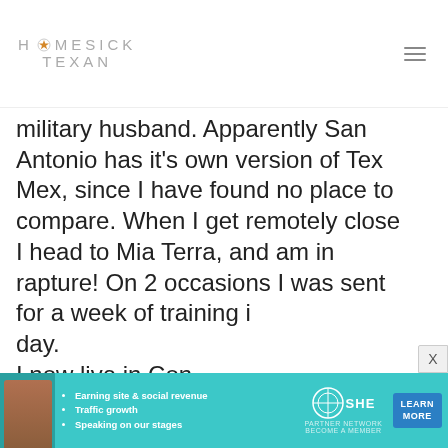HOMESICK TEXAN
military husband. Apparently San Antonio has it's own version of Tex Mex, since I have found no place to compare. When I get remotely close I head to Mia Terra, and am in rapture! On 2 occasions I was sent for a week of training i day. I now live in Con practically curl up mention, lard and they certainly came to life when I shared my
[Figure (advertisement): SHE Partner Network advertisement banner with teal background, showing a woman with bullet points: Earning site & social revenue, Traffic growth, Speaking on our stages. Includes SHE logo and a Learn More button.]